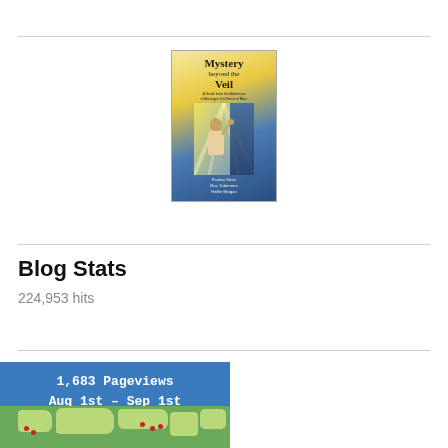[Figure (photo): Book cover of 'Mystery beyond the Veil' by Paulina Davis, showing a figure reaching toward rays of light with a blue and gold background]
Blog Stats
224,953 hits
[Figure (infographic): Pageviews widget showing '1,683 Pageviews Aug 1st – Sep 1st' with a world map showing visitor locations marked with red dots]